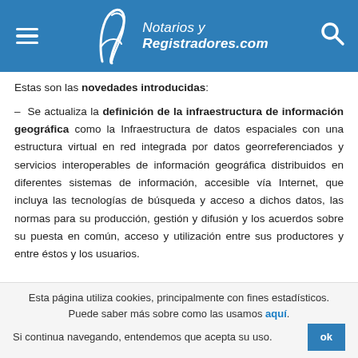Notarios y Registradores.com
Estas son las novedades introducidas:
– Se actualiza la definición de la infraestructura de información geográfica como la Infraestructura de datos espaciales con una estructura virtual en red integrada por datos georreferenciados y servicios interoperables de información geográfica distribuidos en diferentes sistemas de información, accesible vía Internet, que incluya las tecnologías de búsqueda y acceso a dichos datos, las normas para su producción, gestión y difusión y los acuerdos sobre su puesta en común, acceso y utilización entre sus productores y entre éstos y los usuarios.
Esta página utiliza cookies, principalmente con fines estadísticos. Puede saber más sobre como las usamos aquí. Si continua navegando, entendemos que acepta su uso.